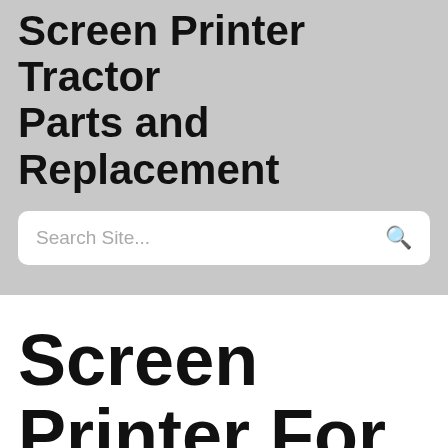Screen Printer Tractor Parts and Replacement
Search Site...
Screen Printer For